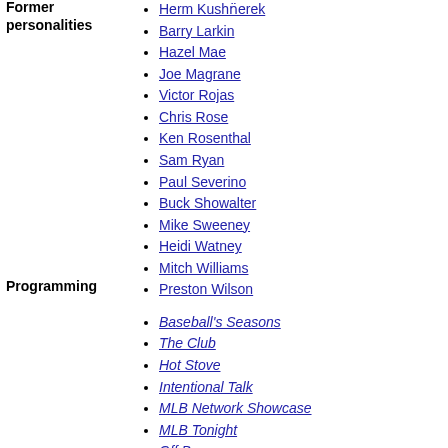Former personalities
Herm Kusnherek
Barry Larkin
Hazel Mae
Joe Magrane
Victor Rojas
Chris Rose
Ken Rosenthal
Sam Ryan
Paul Severino
Buck Showalter
Mike Sweeney
Heidi Watney
Mitch Williams
Preston Wilson
Programming
Baseball's Seasons
The Club
Hot Stove
Intentional Talk
MLB Network Showcase
MLB Tonight
Off Base
Quick Pitch
Thursday Night Baseball
MLB Network Radio